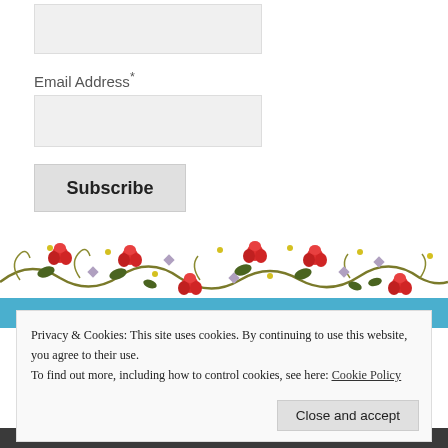Email Address*
[Figure (illustration): Decorative floral border with red roses/tulips on olive green vines, with purple and yellow accent flowers, repeating horizontally across the page.]
Privacy & Cookies: This site uses cookies. By continuing to use this website, you agree to their use.
To find out more, including how to control cookies, see here: Cookie Policy
Close and accept